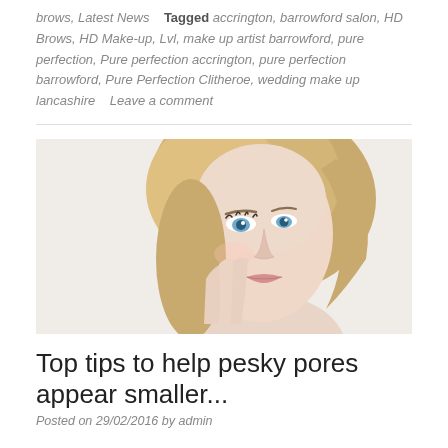brows, Latest News   Tagged accrington, barrowford salon, HD Brows, HD Make-up, Lvl, make up artist barrowford, pure perfection, Pure perfection accrington, pure perfection barrowford, Pure Perfection Clitheroe, wedding make up lancashire   Leave a comment
[Figure (photo): Close-up portrait of a blonde woman with blue eyes, touching her cheek with her hand, against a white background. Beauty/skincare image.]
Top tips to help pesky pores appear smaller...
Posted on 29/02/2016 by admin